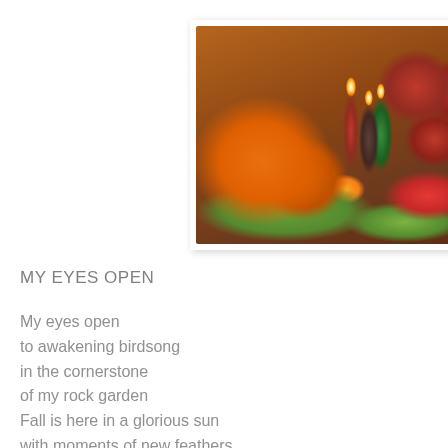[Figure (photo): Autumn harvest still life with orange pumpkins, red and green lit candles, red apples, orange berries, green leaves, acorns, and a pine cone arranged on a dark wooden surface.]
MY EYES OPEN
My eyes open
to awakening birdsong
in the cornerstone
of my rock garden
Fall is here in a glorious sun
with moments of new feathers,
black- and blueberries